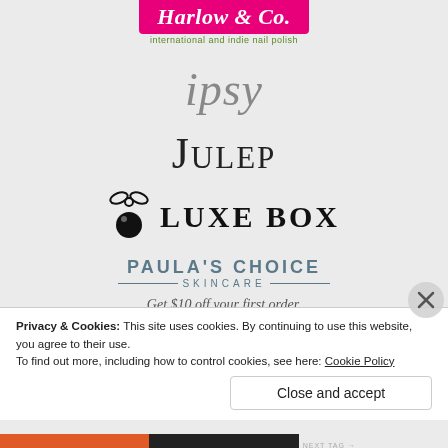[Figure (logo): Harlow & Co. logo - pink banner with white italic text 'Harlow & Co.' and green subtitle 'international and indie nail polish']
[Figure (logo): ipsy logo in gray italic serif font]
[Figure (logo): JULEP logo in large black small-caps serif font]
[Figure (logo): LUXE BOX logo with decorative ornament icon and bold uppercase text]
[Figure (logo): Paula's Choice Skincare logo in blue-gray uppercase letters with decorative lines]
Get $10 off your first order.
Privacy & Cookies: This site uses cookies. By continuing to use this website, you agree to their use.
To find out more, including how to control cookies, see here: Cookie Policy
Close and accept